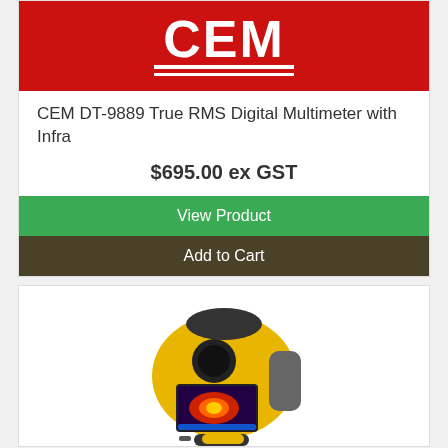[Figure (logo): CEM logo — white text on red background with two white horizontal lines underneath]
CEM DT-9889 True RMS Digital Multimeter with Infra
$695.00 ex GST
View Product
Add to Cart
[Figure (photo): Yellow handheld thermal imaging camera (Fluke style) with color display screen showing thermal image, seen from front-right angle]